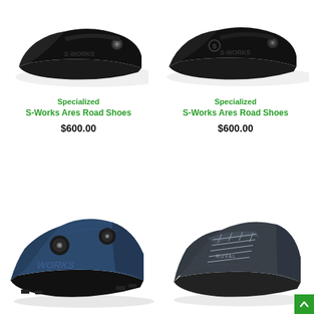[Figure (photo): Black Specialized S-Works Ares Road Shoe, side view, BOA dial closure, top-left product]
Specialized
S-Works Ares Road Shoes
$600.00
[Figure (photo): Black Specialized S-Works Ares Road Shoe, side view with Specialized logo visible, top-right product]
Specialized
S-Works Ares Road Shoes
$600.00
[Figure (photo): Navy/steel blue Specialized S-Works mountain bike shoe with dual BOA dials, cleat-compatible sole, bottom-left product]
[Figure (photo): Dark gray/charcoal lace-up road cycling shoe with ROVAL branding, bottom-right product]